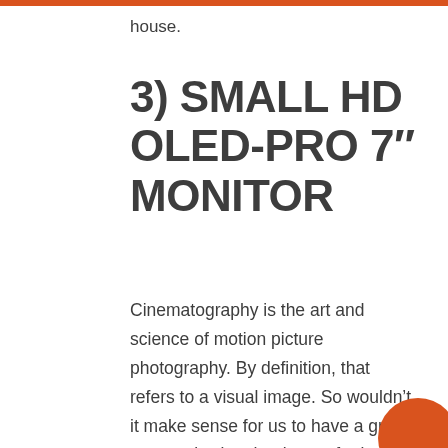house.
3) SMALL HD OLED-PRO 7" MONITOR
Cinematography is the art and science of motion picture photography. By definition, that refers to a visual image. So wouldn’t it make sense for us to have a great way to viewing that image for its aesthetics, story relevanc,e and technical